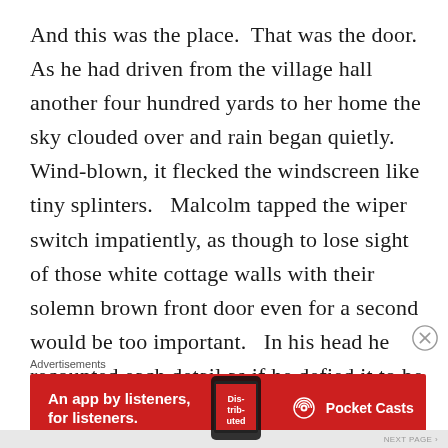And this was the place.  That was the door.  As he had driven from the village hall another four hundred yards to her home the sky clouded over and rain began quietly.  Wind-blown, it flecked the windscreen like tiny splinters.   Malcolm tapped the wiper switch impatiently, as though to lose sight of those white cottage walls with their solemn brown front door even for a second would be too important.   In his head he recounted each detail as if he defied it to be altered.  It was not.
Advertisements
[Figure (infographic): Red advertisement banner for Pocket Casts app showing text 'An app by listeners, for listeners.' with a phone image showing 'Distributed' and the Pocket Casts logo on the right.]